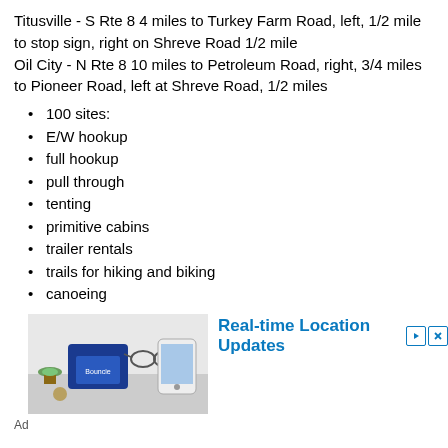Titusville - S Rte 8 4 miles to Turkey Farm Road, left, 1/2 mile to stop sign, right on Shreve Road 1/2 mile
Oil City - N Rte 8 10 miles to Petroleum Road, right, 3/4 miles to Pioneer Road, left at Shreve Road, 1/2 miles
100 sites: E/W hookup, full hookup, pull through, tenting, primitive cabins, trailer rentals
trails for hiking and biking
canoeing
fishing
nearby rentals of boats, golf
[Figure (photo): Advertisement image showing a GPS tracker device with a phone, glasses and plant on a white surface. Ad for Real-time Location Updates.]